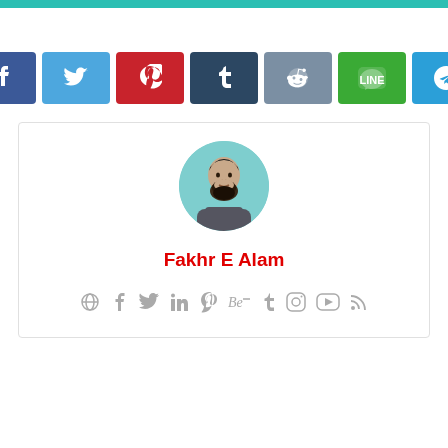[Figure (infographic): Row of 9 social media share buttons: WhatsApp (teal), Facebook (dark blue), Twitter (light blue), Pinterest (red), Tumblr (dark navy), Reddit (slate blue), LINE (green), Telegram (blue), Share (gray)]
[Figure (photo): Profile card with circular avatar photo of Fakhr E Alam, author name in red bold text, and a row of gray social media icons (globe, Facebook, Twitter, LinkedIn, Pinterest, Behance, Tumblr, Instagram, YouTube, RSS)]
Fakhr E Alam